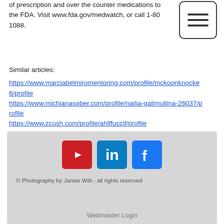of prescription and over the counter medications to the FDA. Visit www.fda.gov/medwatch, or call 1-800-1088.
[Figure (other): Hamburger menu button icon with three horizontal lines inside a rounded rectangle border]
Similar articles:
https://www.marciabelmiromentoring.com/profile/mckoonknocke6/profile
https://www.michianasober.com/profile/nailia-galimullina-26037/profile
https://www.zcush.com/profile/ahlffuccif/profile
https://www.garosnow.com/profile/grewganimm/profile
© Photography by Janise Witt - all rights reserved
Webmaster Login